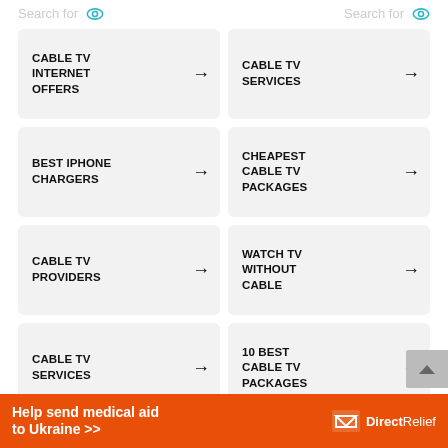Search for
Search for
CABLE TV INTERNET OFFERS →
CABLE TV SERVICES →
BEST IPHONE CHARGERS →
CHEAPEST CABLE TV PACKAGES →
CABLE TV PROVIDERS →
WATCH TV WITHOUT CABLE →
CABLE TV SERVICES →
10 BEST CABLE TV PACKAGES →
AFFORDABLE CABLE TV →
CABLE TV PROVIDERS →
Help send medical aid to Ukraine >> DirectRelief